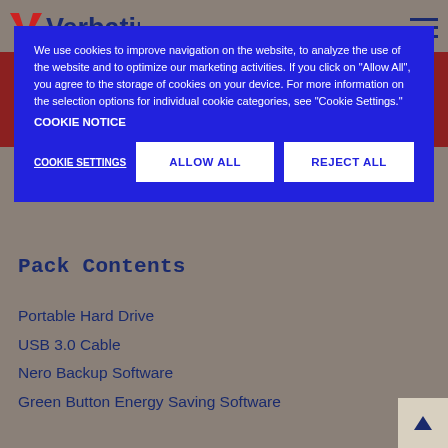Verbatim
We use cookies to improve navigation on the website, to analyze the use of the website and to optimize our marketing activities. If you click on "Allow All", you agree to the storage of cookies on your device. For more information on the selection options for individual cookie categories, see "Cookie Settings."
COOKIE NOTICE
COOKIE SETTINGS | ALLOW ALL | REJECT ALL
Pack Contents
Portable Hard Drive
USB 3.0 Cable
Nero Backup Software
Green Button Energy Saving Software